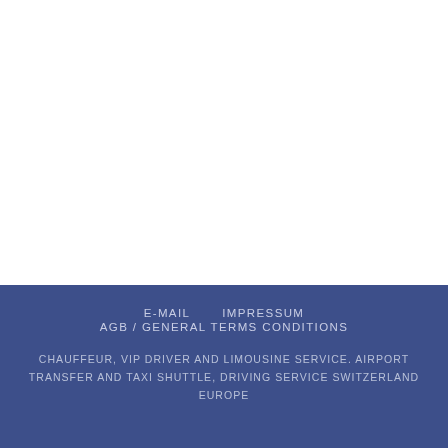E-MAIL    IMPRESSUM
AGB / GENERAL TERMS CONDITIONS

CHAUFFEUR, VIP DRIVER AND LIMOUSINE SERVICE. AIRPORT TRANSFER AND TAXI SHUTTLE, DRIVING SERVICE SWITZERLAND EUROPE